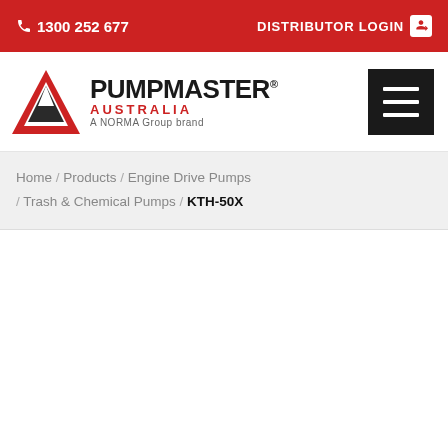📞 1300 252 677    DISTRIBUTOR LOGIN →
[Figure (logo): Pumpmaster Australia logo — red triangle mountain icon with PUMPMASTER text in bold, AUSTRALIA in red below, 'A NORMA Group brand' tagline]
Home / Products / Engine Drive Pumps / Trash & Chemical Pumps / KTH-50X